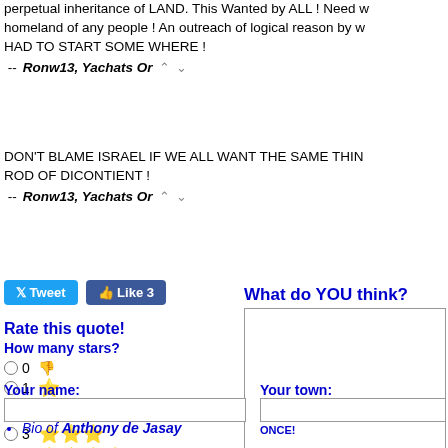perpetual inheritance of LAND. This Wanted by ALL ! Need w... homeland of any people ! An outreach of logical reason by w... HAD TO START SOME WHERE !
-- Ronw13, Yachats Or
DON'T BLAME ISRAEL IF WE ALL WANT THE SAME THIN... ROD OF DICONTIENT !
-- Ronw13, Yachats Or
[Figure (other): Tweet button and Like 3 Facebook button]
Rate this quote!
How many stars?
0 (thumbs down icon)
1 (1 star)
2 (2 stars)
3 (3 stars)
4 (4 stars)
5 (5 stars)
What do YOU think?
Your name:
Your town:
ONCE!
Bio of Anthony de Jasay